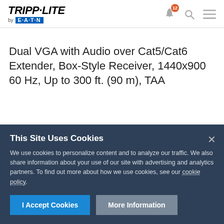[Figure (logo): Tripp-Lite by Eaton logo in header, with bell notification icon (badge: 12), search icon, and hamburger menu icon]
Dual VGA with Audio over Cat5/Cat6 Extender, Box-Style Receiver, 1440x900 60 Hz, Up to 300 ft. (90 m), TAA
Part Number: B132-200A-SR  ☆☆☆☆  Write a review
This Site Uses Cookies
We use cookies to personalize content and to analyze our traffic. We also share information about your use of our site with advertising and analytics partners. To find out more about how we use cookies, see our cookie policy.
I Accept Cookies  More Information